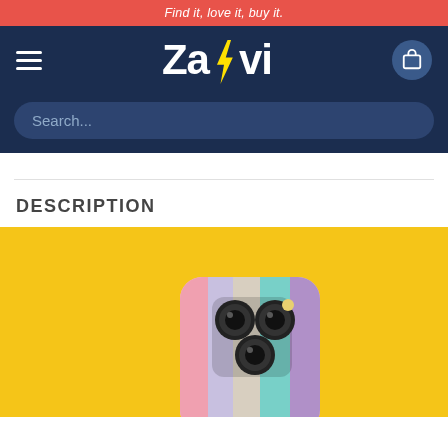Find it, love it, buy it.
[Figure (logo): Zapvi logo with yellow lightning bolt on dark navy background, hamburger menu left, shopping bag icon right]
Search...
DESCRIPTION
[Figure (photo): Colorful striped iPhone case with pastel colors (pink, lavender, beige, teal, purple) on a yellow background, showing the back of the phone with camera cutout]